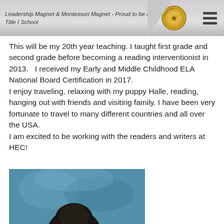Leadership Magnet & Montessori Magnet - Proud to be a Title I School
This will be my 20th year teaching. I taught first grade and second grade before becoming a reading interventionist in 2013.   I received my Early and Middle Childhood ELA National Board Certification in 2017.
I enjoy traveling, relaxing with my puppy Halle, reading, hanging out with friends and visiting family. I have been very fortunate to travel to many different countries and all over the USA.
I am excited to be working with the readers and writers at HEC!
[Figure (photo): Partial photograph of a person against a blue background, cropped at bottom of page]